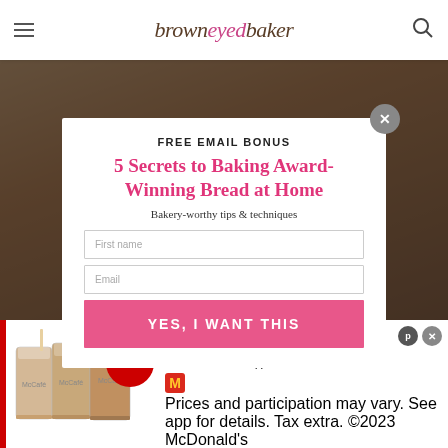brown eyed baker
[Figure (screenshot): Email subscription modal popup over food blog page background. Modal contains: FREE EMAIL BONUS heading, '5 Secrets to Baking Award-Winning Bread at Home' in pink, 'Bakery-worthy tips & techniques' subhead, First name and Email input fields, and a pink 'YES, I WANT THIS' button. Background shows cupcake/baked goods photo. Bottom portion shows a McDonald's McCafe advertisement with iced coffees and 99¢ Any Size Until 11AM promotion.]